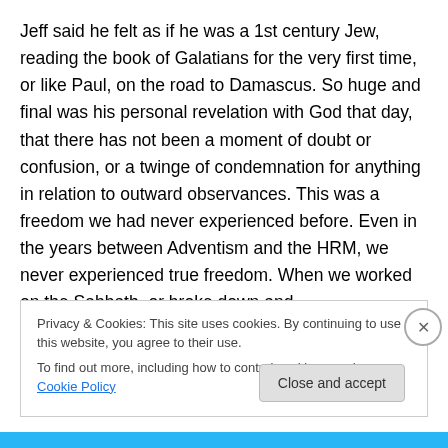Jeff said he felt as if he was a 1st century Jew, reading the book of Galatians for the very first time, or like Paul, on the road to Damascus. So huge and final was his personal revelation with God that day, that there has not been a moment of doubt or confusion, or a twinge of condemnation for anything in relation to outward observances. This was a freedom we had never experienced before. Even in the years between Adventism and the HRM, we never experienced true freedom. When we worked on the Sabbath, or broke down and
Privacy & Cookies: This site uses cookies. By continuing to use this website, you agree to their use.
To find out more, including how to control cookies, see here: Cookie Policy